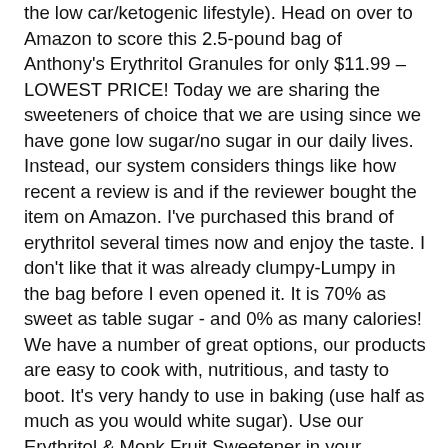the low car/ketogenic lifestyle). Head on over to Amazon to score this 2.5-pound bag of Anthony's Erythritol Granules for only $11.99 – LOWEST PRICE! Today we are sharing the sweeteners of choice that we are using since we have gone low sugar/no sugar in our daily lives. Instead, our system considers things like how recent a review is and if the reviewer bought the item on Amazon. I've purchased this brand of erythritol several times now and enjoy the taste. I don't like that it was already clumpy-Lumpy in the bag before I even opened it. It is 70% as sweet as table sugar - and 0% as many calories! We have a number of great options, our products are easy to cook with, nutritious, and tasty to boot. It's very handy to use in baking (use half as much as you would white sugar). Use our Erythritol & Monk Fruit Sweetener in your favorite baking recipes or as sweetener in tea or coffee. List Owel Food Fair sells a wide range of items, from dress, electronic, accessories to all another products. Reviewed in the United States on March 11, 2018. Family. It has zero calories and many benefits. And it doesn't seem to matter how much you use, things just don't go past a certain really mild level of sweetness. With an equal sweetness, taste, and volume to sugar, it … I don't notice it in baked goods. Monk fruit extract is 150 to 200 times sweeter than normal sugar